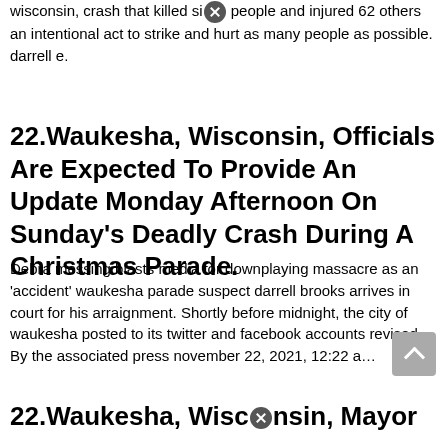wisconsin, crash that killed six people and injured 62 others an intentional act to strike and hurt as many people as possible. darrell e.
22.Waukesha, Wisconsin, Officials Are Expected To Provide An Update Monday Afternoon On Sunday's Deadly Crash During A Christmas Parade.
Debra messing blasts media for downplaying massacre as an 'accident' waukesha parade suspect darrell brooks arrives in court for his arraignment. Shortly before midnight, the city of waukesha posted to its twitter and facebook accounts revised. By the associated press november 22, 2021, 12:22 a…
22.Waukesha, Wisconsin, Mayor